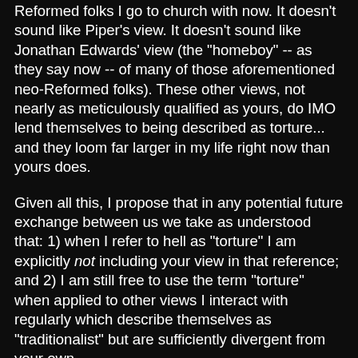Reformed folks I go to church with now. It doesn't sound like Piper's view. It doesn't sound like Jonathan Edwards' view (the "homeboy" -- as they say now -- of many of those aforementioned neo-Reformed folks). These other views, not nearly as meticulously qualified as yours, do IMO lend themselves to being described as torture... and they loom far larger in my life right now than yours does.
Given all this, I propose that in any potential future exchange between us we take as understood that: 1) when I refer to hell as "torture" I am explicitly not including your view in that reference; and 2) I am still free to use the term "torture" when applied to other views I interact with regularly which describe themselves as "traditionalist" but are sufficiently divergent from your own.
If you can agree to these terms, fax back a signed copy... we'll get Robin to notarize it, and he can have his blog back. ;-)